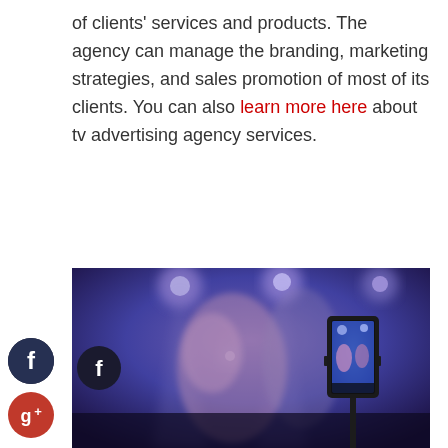of clients' services and products. The agency can manage the branding, marketing strategies, and sales promotion of most of its clients. You can also learn more here about tv advertising agency services.
[Figure (photo): A blurry concert/performance scene photographed through a smartphone mounted on a tripod/gimbal in the foreground. The phone screen shows a lit stage with performers. Social media sharing icons (Facebook, Google+, Twitter, and a plus/share button) are visible on the left edge of the image.]